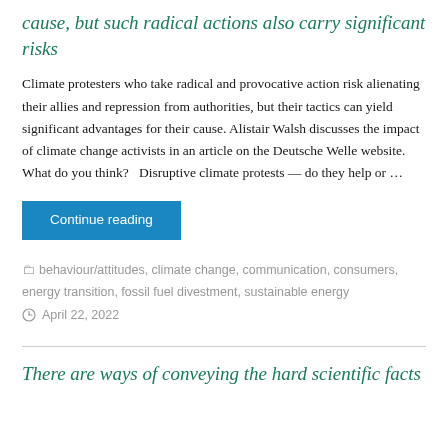cause, but such radical actions also carry significant risks
Climate protesters who take radical and provocative action risk alienating their allies and repression from authorities, but their tactics can yield significant advantages for their cause. Alistair Walsh discusses the impact of climate change activists in an article on the Deutsche Welle website. What do you think?   Disruptive climate protests — do they help or …
Continue reading
behaviour/attitudes, climate change, communication, consumers, energy transition, fossil fuel divestment, sustainable energy
April 22, 2022
There are ways of conveying the hard scientific facts